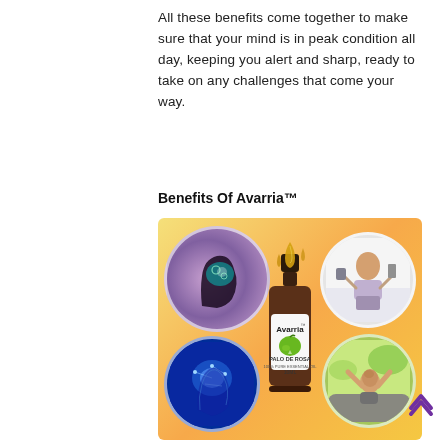All these benefits come together to make sure that your mind is in peak condition all day, keeping you alert and sharp, ready to take on any challenges that come your way.
Benefits Of Avarria™
[Figure (photo): Product image of Avarria essential oil bottle (Palo De Rosa, 10ml, 100% Pure Essential Oil) centered on a warm golden-orange gradient background. Surrounding the bottle are four circular vignettes: top-left shows a brain silhouette with gears/brain imagery in purple tones; top-right shows a woman multitasking with phone, tablet, and calculator; bottom-left shows a glowing blue brain scan/neurology image; bottom-right shows a relaxed woman leaning back outdoors. Golden oil drops fall above the bottle.]